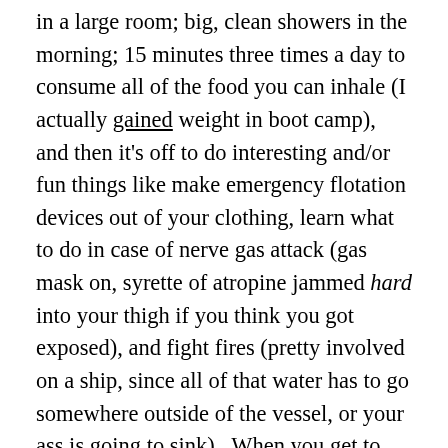in a large room; big, clean showers in the morning; 15 minutes three times a day to consume all of the food you can inhale (I actually gained weight in boot camp), and then it's off to do interesting and/or fun things like make emergency flotation devices out of your clothing, learn what to do in case of nerve gas attack (gas mask on, syrette of atropine jammed hard into your thigh if you think you got exposed), and fight fires (pretty involved on a ship, since all of that water has to go somewhere outside of the vessel, or your ass is going to sink).  When you get to your ship, it's three bunks deep in a compartment that smells of sweat, farts, and depression.  Plus, you learn to sleep with a 5-inch artillery piece firing